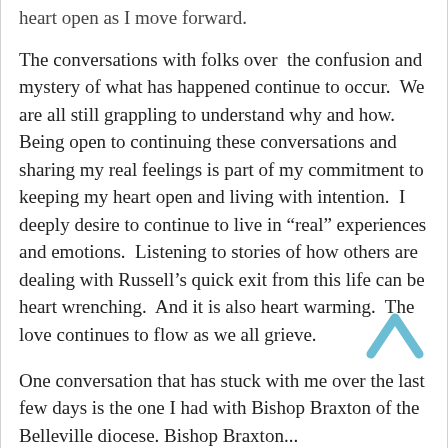heart open as I move forward.
The conversations with folks over the confusion and mystery of what has happened continue to occur.  We are all still grappling to understand why and how.  Being open to continuing these conversations and sharing my real feelings is part of my commitment to keeping my heart open and living with intention.  I deeply desire to continue to live in “real” experiences and emotions.  Listening to stories of how others are dealing with Russell’s quick exit from this life can be heart wrenching.  And it is also heart warming.  The love continues to flow as we all grieve.
One conversation that has stuck with me over the last few days is the one I had with Bishop Braxton of the Belleville diocese. Bishop Braxton...